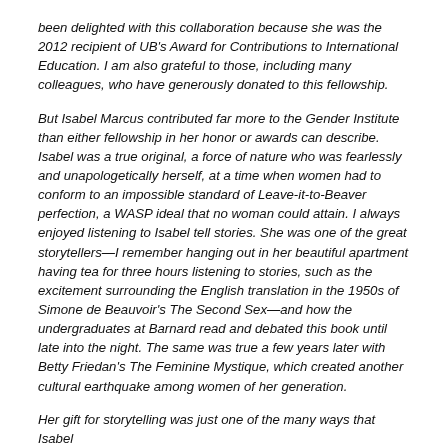been delighted with this collaboration because she was the 2012 recipient of UB's Award for Contributions to International Education. I am also grateful to those, including many colleagues, who have generously donated to this fellowship.
But Isabel Marcus contributed far more to the Gender Institute than either fellowship in her honor or awards can describe. Isabel was a true original, a force of nature who was fearlessly and unapologetically herself, at a time when women had to conform to an impossible standard of Leave-it-to-Beaver perfection, a WASP ideal that no woman could attain. I always enjoyed listening to Isabel tell stories. She was one of the great storytellers—I remember hanging out in her beautiful apartment having tea for three hours listening to stories, such as the excitement surrounding the English translation in the 1950s of Simone de Beauvoir's The Second Sex—and how the undergraduates at Barnard read and debated this book until late into the night. The same was true a few years later with Betty Friedan's The Feminine Mystique, which created another cultural earthquake among women of her generation.
Her gift for storytelling was just one of the many ways that Isabel